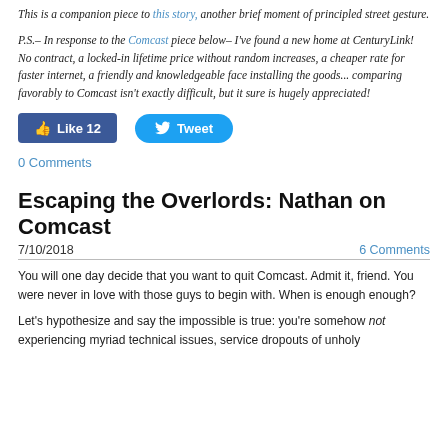This is a companion piece to this story, another brief moment of principled street gesture.
P.S.– In response to the Comcast piece below– I've found a new home at CenturyLink! No contract, a locked-in lifetime price without random increases, a cheaper rate for faster internet, a friendly and knowledgeable face installing the goods... comparing favorably to Comcast isn't exactly difficult, but it sure is hugely appreciated!
[Figure (other): Facebook Like button showing 12 likes and Twitter Tweet button]
0 Comments
Escaping the Overlords: Nathan on Comcast
7/10/2018    6 Comments
You will one day decide that you want to quit Comcast. Admit it, friend. You were never in love with those guys to begin with. When is enough enough?
Let's hypothesize and say the impossible is true: you're somehow not experiencing myriad technical issues, service dropouts of unholy